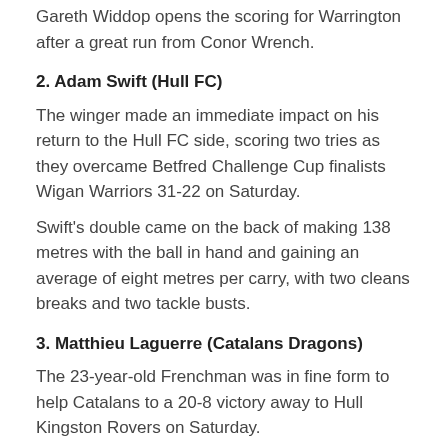Gareth Widdop opens the scoring for Warrington after a great run from Conor Wrench.
2. Adam Swift (Hull FC)
The winger made an immediate impact on his return to the Hull FC side, scoring two tries as they overcame Betfred Challenge Cup finalists Wigan Warriors 31-22 on Saturday.
Swift's double came on the back of making 138 metres with the ball in hand and gaining an average of eight metres per carry, with two cleans breaks and two tackle busts.
3. Matthieu Laguerre (Catalans Dragons)
The 23-year-old Frenchman was in fine form to help Catalans to a 20-8 victory away to Hull Kingston Rovers on Saturday.